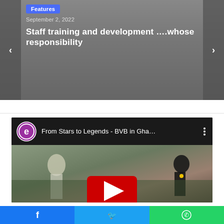Features
September 2, 2022
Staff training and development ….whose responsibility
[Figure (screenshot): YouTube video embed: From Stars to Legends - BVB in Gha... with a video thumbnail showing football players on a field with a YouTube play button overlay]
Facebook | Twitter | WhatsApp social share buttons